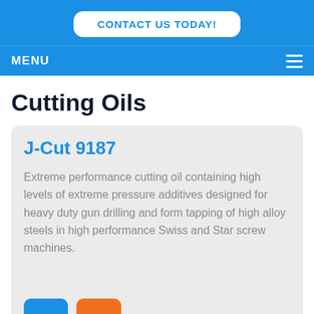CONTACT US TODAY!
MENU
Cutting Oils
J-Cut 9187
Extreme performance cutting oil containing high levels of extreme pressure additives designed for heavy duty gun drilling and form tapping of high alloy steels in high performance Swiss and Star screw machines.